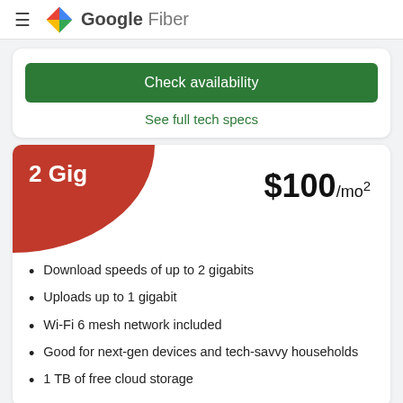Google Fiber
Check availability
See full tech specs
2 Gig
$100/mo²
Download speeds of up to 2 gigabits
Uploads up to 1 gigabit
Wi-Fi 6 mesh network included
Good for next-gen devices and tech-savvy households
1 TB of free cloud storage